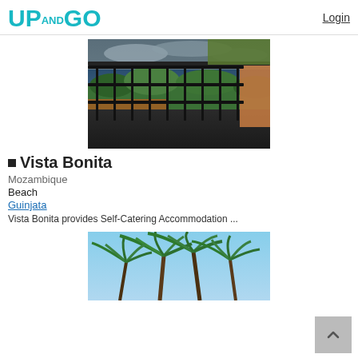[Figure (logo): UP AND GO logo in teal/cyan color]
Login
[Figure (photo): View from a balcony or veranda with metal railings, overlooking a green landscape and ocean under a cloudy sky]
Vista Bonita
Mozambique
Beach
Guinjata
Vista Bonita provides Self-Catering Accommodation ...
[Figure (photo): Palm trees against a blue sky, tropical beach scene]